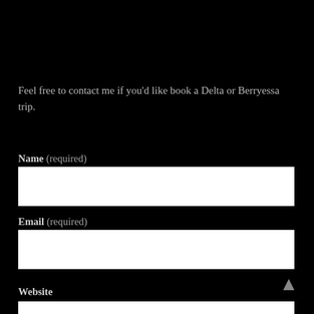Feel free to contact me if you'd like book a Delta or Berryessa trip.
Name (required)
Email (required)
Website